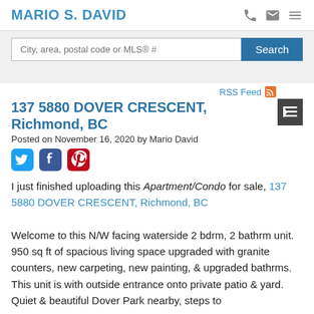MARIO S. DAVID
City, area, postal code or MLS® #
RSS Feed
137 5880 DOVER CRESCENT, Richmond, BC
Posted on November 16, 2020 by Mario David
[Figure (illustration): Social media icons: Twitter, Facebook, Pinterest]
I just finished uploading this Apartment/Condo for sale, 137 5880 DOVER CRESCENT, Richmond, BC
Welcome to this N/W facing waterside 2 bdrm, 2 bathrm unit. 950 sq ft of spacious living space upgraded with granite counters, new carpeting, new painting, & upgraded bathrms. This unit is with outside entrance onto private patio & yard. Quiet & beautiful Dover Park nearby, steps to